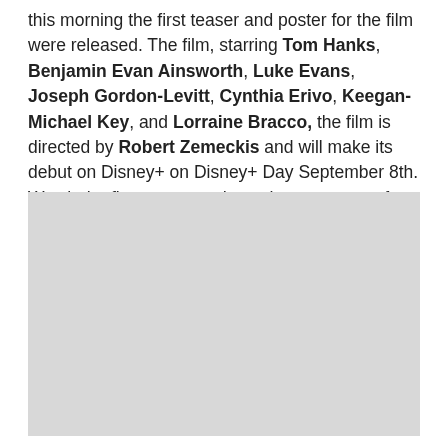this morning the first teaser and poster for the film were released. The film, starring Tom Hanks, Benjamin Evan Ainsworth, Luke Evans,  Joseph Gordon-Levitt, Cynthia Erivo, Keegan-Michael Key, and Lorraine Bracco, the film is directed by Robert Zemeckis and will make its debut on Disney+ on Disney+ Day September 8th. Watch the first teaser and see the new poster for the film below. Bring a tissue.
[Figure (photo): Gray placeholder rectangle for a film teaser/poster image]